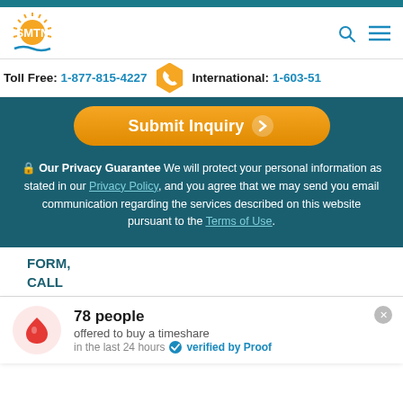[Figure (logo): SMTN.com logo with sun rays and wave graphic]
Toll Free: 1-877-815-4227  International: 1-603-51…
[Figure (illustration): Orange gradient Submit Inquiry button with arrow icon]
🔒 Our Privacy Guarantee We will protect your personal information as stated in our Privacy Policy, and you agree that we may send you email communication regarding the services described on this website pursuant to the Terms of Use.
FORM,
CALL
78 people offered to buy a timeshare in the last 24 hours ✓ verified by Proof